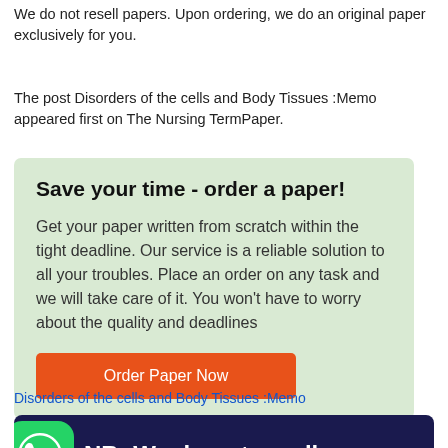We do not resell papers. Upon ordering, we do an original paper exclusively for you.
The post Disorders of the cells and Body Tissues :Memo appeared first on The Nursing TermPaper.
Save your time - order a paper! Get your paper written from scratch within the tight deadline. Our service is a reliable solution to all your troubles. Place an order on any task and we will take care of it. You won't have to worry about the quality and deadlines
Order Paper Now
Disorders of the cells and Body Tissues :Memo
[Figure (other): Dark navy banner with WhatsApp icon and bold white text reading 'NB: We do not resell']